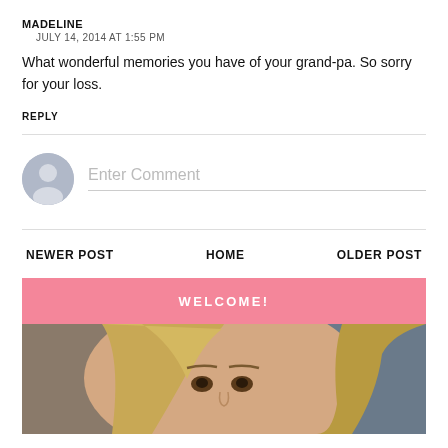MADELINE
JULY 14, 2014 AT 1:55 PM
What wonderful memories you have of your grand-pa. So sorry for your loss.
REPLY
[Figure (other): Comment input area with avatar icon and 'Enter Comment' placeholder text]
NEWER POST
HOME
OLDER POST
WELCOME!
[Figure (photo): Portrait photo of a blonde woman looking up at the camera, with a bookshelf visible in the background]